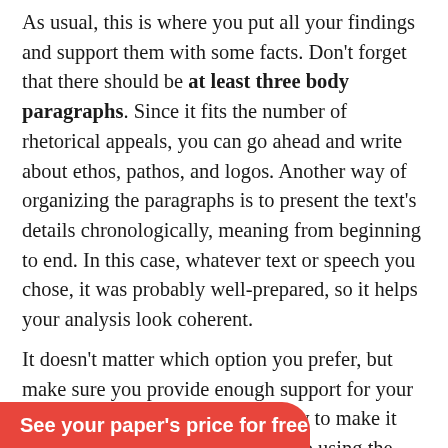As usual, this is where you put all your findings and support them with some facts. Don't forget that there should be at least three body paragraphs. Since it fits the number of rhetorical appeals, you can go ahead and write about ethos, pathos, and logos. Another way of organizing the paragraphs is to present the text's details chronologically, meaning from beginning to end. In this case, whatever text or speech you chose, it was probably well-prepared, so it helps your analysis look coherent.
It doesn't matter which option you prefer, but make sure you provide enough support for your arguments. The most effective way to make it work is to use quotes. Also, stick to using the third-person so that you don't break the rules of academic writing.
You can see how your main points can be organized analysis essay sample
See your paper's price for free